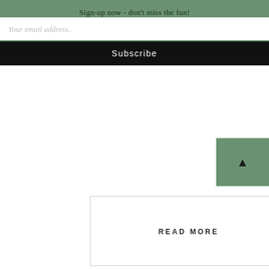Sign-up now - don't miss the fun!
Your email address..
Subscribe
▲
READ MORE
0 Comments
NEXT >
[Figure (other): Circular scroll-to-top button with upward chevron arrow]